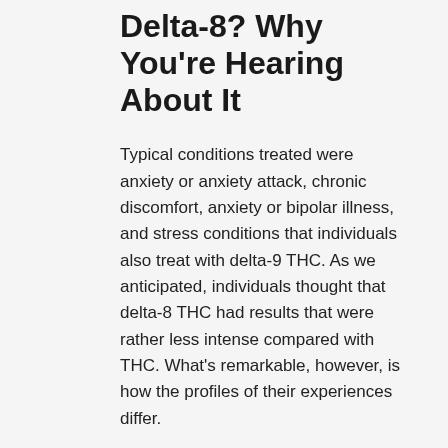Delta-8? Why You're Hearing About It
Typical conditions treated were anxiety or anxiety attack, chronic discomfort, anxiety or bipolar illness, and stress conditions that individuals also treat with delta-9 THC. As we anticipated, individuals thought that delta-8 THC had results that were rather less intense compared with THC. What's remarkable, however, is how the profiles of their experiences differ.
While it seems to trigger slightly lower levels of euphoria, it likewise appears to produce less cognitive